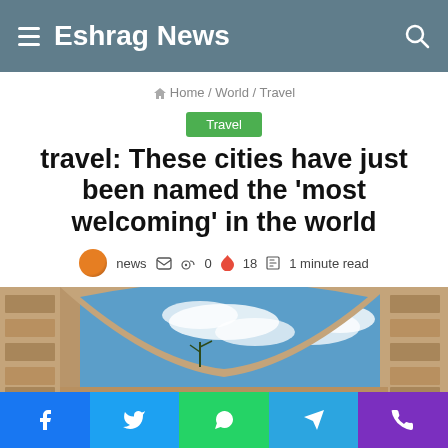Eshrag News
Home / World / Travel
Travel
travel: These cities have just been named the 'most welcoming' in the world
news  0  18  1 minute read
[Figure (photo): View through a stone arch showing blue sky with clouds]
Social share bar: Facebook, Twitter, WhatsApp, Telegram, Phone